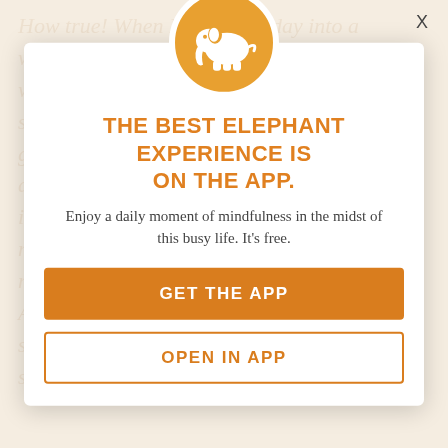How true! When I make this day into a wonderfully balanced blend of eight hours work, eight hours play and eight hours sleep, for instance, filling it with joy and glee. When I drink plenty of water, dance for an hour, make love, complete the next step in my project, eat at the map… growing, turn my face to the sun, spend an infinite moment of God's light, I am here. And when I wake…blissful hours of sleep, I treasure and warmth into a long stretch, well, I light here, right now.
THE BEST ELEPHANT EXPERIENCE IS ON THE APP.
Enjoy a daily moment of mindfulness in the midst of this busy life. It's free.
GET THE APP
OPEN IN APP